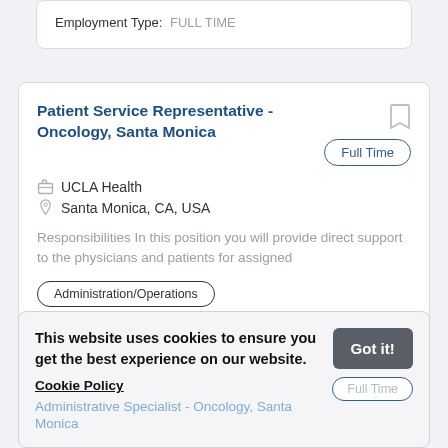Employment Type: FULL TIME
Patient Service Representative - Oncology, Santa Monica
UCLA Health
Santa Monica, CA, USA
Responsibilities In this position you will provide direct support to the physicians and patients for assigned
Administration/Operations
Employment Type: FULL TIME
This website uses cookies to ensure you get the best experience on our website. Cookie Policy
Administrative Specialist - Oncology, Santa Monica
Got it!